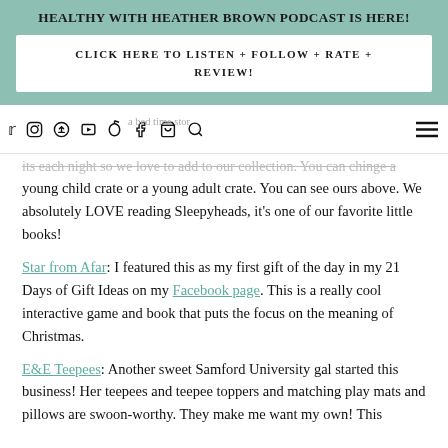HEALTHY WITH HEATHER BROWN PODCAST IS HERE!
CLICK HERE TO LISTEN + FOLLOW + RATE + REVIEW!
[Figure (other): Navigation bar with social media icons: Twitter, Instagram, Pinterest, YouTube, TikTok, Facebook, Cart, Search, and hamburger menu]
young child crate or a young adult crate. You can see ours above. We absolutely LOVE reading Sleepyheads, it's one of our favorite little books!
Star from Afar: I featured this as my first gift of the day in my 21 Days of Gift Ideas on my Facebook page. This is a really cool interactive game and book that puts the focus on the meaning of Christmas.
E&E Teepees: Another sweet Samford University gal started this business! Her teepees and teepee toppers and matching play mats and pillows are swoon-worthy. They make me want my own! This